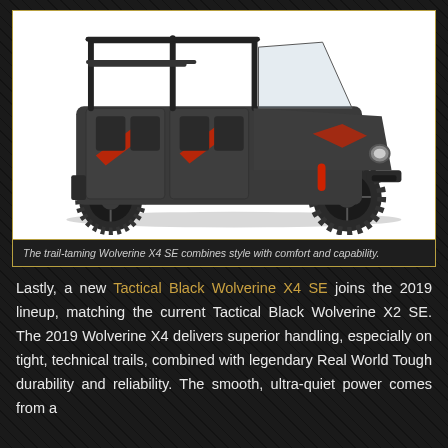[Figure (photo): A dark gray/black Yamaha Wolverine X4 SE side-by-side UTV with red accent graphics, roll cage, and four seats, shown against a white background.]
The trail-taming Wolverine X4 SE combines style with comfort and capability.
Lastly, a new Tactical Black Wolverine X4 SE joins the 2019 lineup, matching the current Tactical Black Wolverine X2 SE. The 2019 Wolverine X4 delivers superior handling, especially on tight, technical trails, combined with legendary Real World Tough durability and reliability. The smooth, ultra-quiet power comes from a